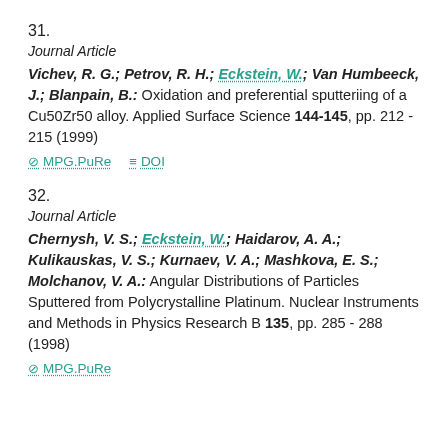31.
Journal Article
Vichev, R. G.; Petrov, R. H.; Eckstein, W.; Van Humbeeck, J.; Blanpain, B.: Oxidation and preferential sputteriing of a Cu50Zr50 alloy. Applied Surface Science 144-145, pp. 212 - 215 (1999)
⊘ MPG.PuRe   ≡ DOI
32.
Journal Article
Chernysh, V. S.; Eckstein, W.; Haidarov, A. A.; Kulikauskas, V. S.; Kurnaev, V. A.; Mashkova, E. S.; Molchanov, V. A.: Angular Distributions of Particles Sputtered from Polycrystalline Platinum. Nuclear Instruments and Methods in Physics Research B 135, pp. 285 - 288 (1998)
⊘ MPG.PuRe